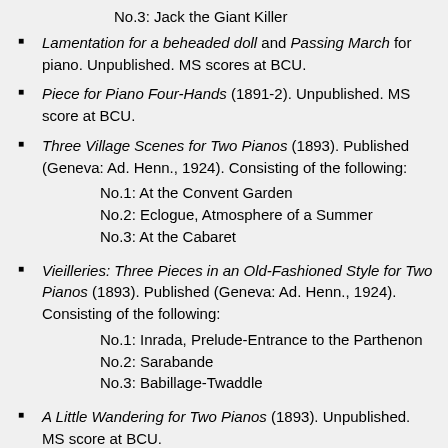No.3: Jack the Giant Killer
Lamentation for a beheaded doll and Passing March for piano. Unpublished. MS scores at BCU.
Piece for Piano Four-Hands (1891-2). Unpublished. MS score at BCU.
Three Village Scenes for Two Pianos (1893). Published (Geneva: Ad. Henn., 1924). Consisting of the following: No.1: At the Convent Garden; No.2: Eclogue, Atmosphere of a Summer; No.3: At the Cabaret
Vieilleries: Three Pieces in an Old-Fashioned Style for Two Pianos (1893). Published (Geneva: Ad. Henn., 1924). Consisting of the following: No.1: Inrada, Prelude-Entrance to the Parthenon; No.2: Sarabande; No.3: Babillage-Twaddle
A Little Wandering for Two Pianos (1893). Unpublished. MS score at BCU.
The Old Violincellist (1899). Unpublished. MS score at BCU.